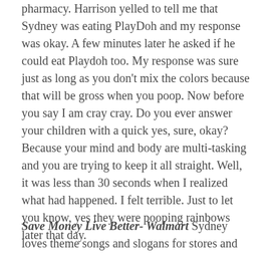pharmacy.  Harrison yelled to tell me that Sydney was eating PlayDoh and my response was okay.  A few minutes later he asked if he could eat Playdoh too.  My response was sure just as long as you don't mix the colors because that will be gross when you poop.  Now before you say I am cray cray.  Do you ever answer your children with a quick yes, sure, okay? Because your mind and body are multi-tasking and you are trying to keep it all straight.  Well, it was less than 30 seconds when I realized what had happened. I felt terrible. Just to let you know,  yes they were pooping rainbows later that day.
Save Money Live Better- Walmart  Sydney loves theme songs and slogans for stores and